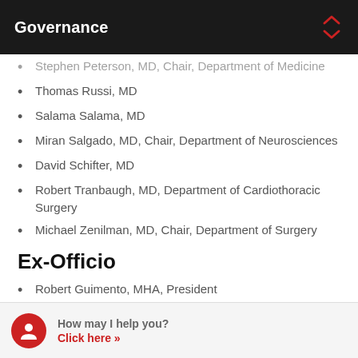Governance
Stephen Peterson, MD, Chair, Department of Medicine
Thomas Russi, MD
Salama Salama, MD
Miran Salgado, MD, Chair, Department of Neurosciences
David Schifter, MD
Robert Tranbaugh, MD, Department of Cardiothoracic Surgery
Michael Zenilman, MD, Chair, Department of Surgery
Ex-Officio
Robert Guimento, MHA, President
How may I help you? Click here >>